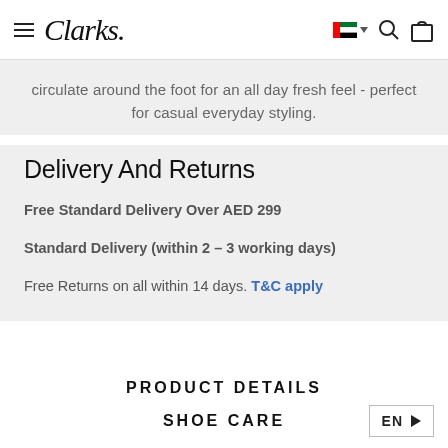Clarks (navigation header with hamburger menu, logo, UAE flag, search, and bag icons)
circulate around the foot for an all day fresh feel - perfect for casual everyday styling.
Delivery And Returns
Free Standard Delivery Over AED 299
Standard Delivery (within 2 – 3 working days)
Free Returns on all within 14 days. T&C apply
PRODUCT DETAILS
SHOE CARE